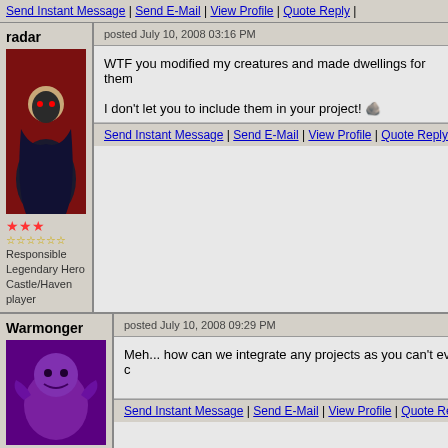Send Instant Message | Send E-Mail | View Profile | Quote Reply |
radar
posted July 10, 2008 03:16 PM
WTF you modified my creatures and made dwellings for them...
I don't let you to include them in your project!
Responsible Legendary Hero Castle/Haven player
Send Instant Message | Send E-Mail | View Profile | Quote Reply |
Warmonger
posted July 10, 2008 09:29 PM
Meh... how can we integrate any projects as you can't even c...
Promising Legendary Hero fallen artist
Send Instant Message | Send E-Mail | View Profile | Quote Reply |
Jump To: « Prev Thread . . . Next Thread »
New Poll  New Topic  Post Reply  JUMP TO ANOTHER FORUM  Go  Page compiled in 0.0508 seconds